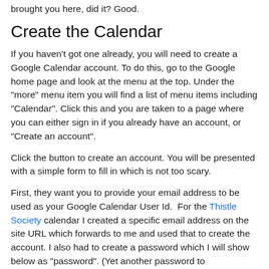brought you here, did it? Good.
Create the Calendar
If you haven’t got one already, you will need to create a Google Calendar account. To do this, go to the Google home page and look at the menu at the top. Under the “more” menu item you will find a list of menu items including “Calendar”. Click this and you are taken to a page where you can either sign in if you already have an account, or “Create an account”.
Click the button to create an account. You will be presented with a simple form to fill in which is not too scary.
First, they want you to provide your email address to be used as your Google Calendar User Id.  For the Thistle Society calendar I created a specific email address on the site URL which forwards to me and used that to create the account. I also had to create a password which I will show below as “password”. (Yet another password to